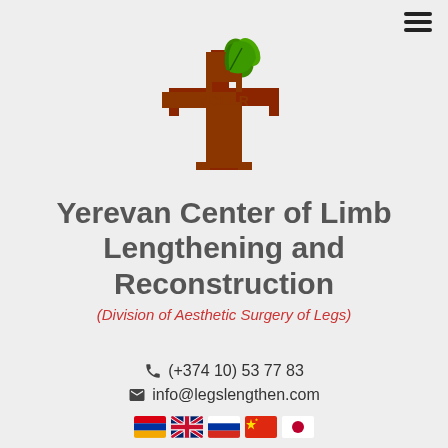[Figure (logo): YCLLR logo: a red/brown medical cross shape with green leaf sprouting from top, letters YCLLR in the center of the cross]
Yerevan Center of Limb Lengthening and Reconstruction
(Division of Aesthetic Surgery of Legs)
(+374 10) 53 77 83
info@legslengthen.com
[Figure (illustration): Row of 5 country flags: Armenian, British (UK), Russian, Chinese, Japanese]